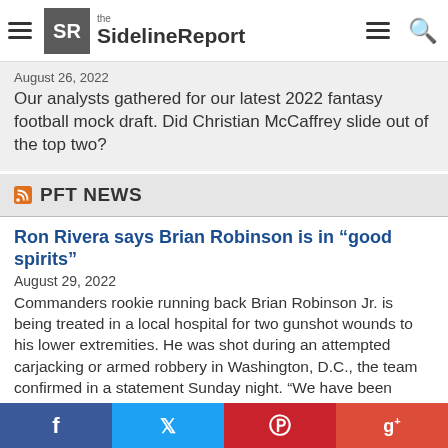the Sideline Report
August 26, 2022
Our analysts gathered for our latest 2022 fantasy football mock draft. Did Christian McCaffrey slide out of the top two?
PFT NEWS
Ron Rivera says Brian Robinson is in “good spirits”
August 29, 2022
Commanders rookie running back Brian Robinson Jr. is being treated in a local hospital for two gunshot wounds to his lower extremities. He was shot during an attempted carjacking or armed robbery in Washington, D.C., the team confirmed in a statement Sunday night. “We have been made aware that Brian Robinson Jr. was the victim [...]
Drew Lock “disappointed” at losing the starting quarterback job again
August 28, 2022
Pete Carroll announced his starting quarterback decision to the entire team in the locker room following Friday...